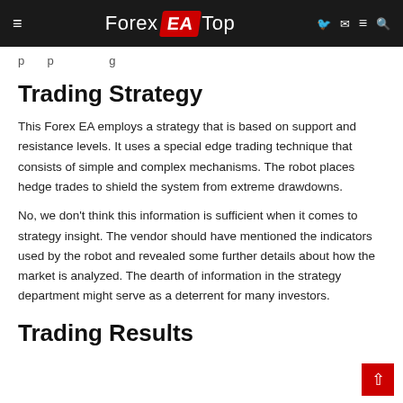Forex EA Top
p p g
Trading Strategy
This Forex EA employs a strategy that is based on support and resistance levels. It uses a special edge trading technique that consists of simple and complex mechanisms. The robot places hedge trades to shield the system from extreme drawdowns.
No, we don't think this information is sufficient when it comes to strategy insight. The vendor should have mentioned the indicators used by the robot and revealed some further details about how the market is analyzed. The dearth of information in the strategy department might serve as a deterrent for many investors.
Trading Results